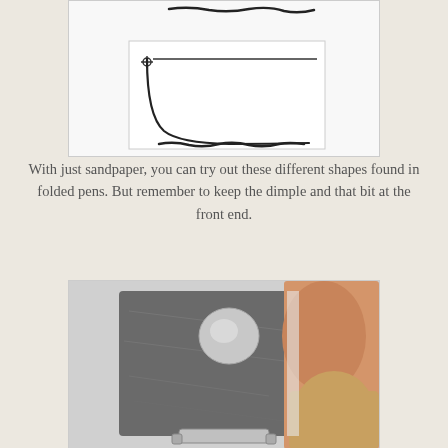[Figure (illustration): Black and white sketch/drawing showing two pen nib cross-section shapes on white paper — a curved J-shape with a dot and a horizontal line at top, and jagged horizontal lines indicating the edge profile.]
With just sandpaper, you can try out these different shapes found in folded pens. But remember to keep the dimple and that bit at the front end.
[Figure (photo): Close-up photograph of fingers holding a small square piece of dark metallic material (likely a pen nib or metal sheet) with a circular dimple/dome shape visible on its surface, and the tip of a tool (possibly pliers) at the bottom.]